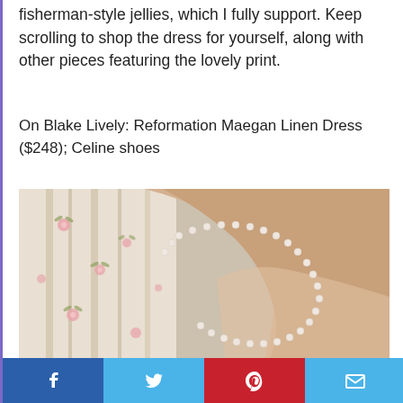fisherman-style jellies, which I fully support. Keep scrolling to shop the dress for yourself, along with other pieces featuring the lovely print.
On Blake Lively: Reformation Maegan Linen Dress ($248); Celine shoes
[Figure (photo): Close-up photo of a woman's neck area wearing a pearl necklace, dressed in a floral patterned garment with cream background and pink/green floral motifs.]
Facebook | Twitter | Pinterest | Email